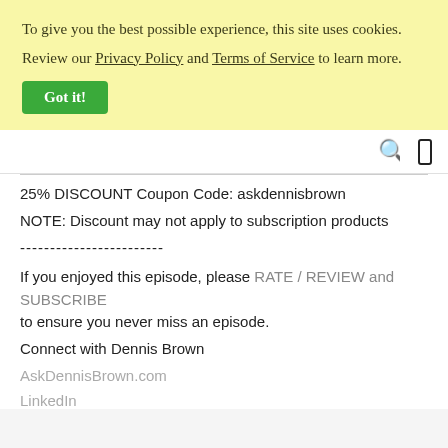To give you the best possible experience, this site uses cookies. Review our Privacy Policy and Terms of Service to learn more. Got it!
25% DISCOUNT Coupon Code: askdennisbrown
NOTE: Discount may not apply to subscription products
------------------------
If you enjoyed this episode, please RATE / REVIEW and SUBSCRIBE to ensure you never miss an episode.
Connect with Dennis Brown
AskDennisBrown.com
LinkedIn